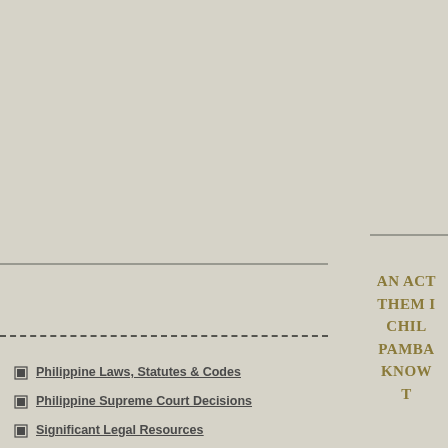Philippine Laws, Statutes & Codes
Philippine Supreme Court Decisions
Significant Legal Resources
WorldWide Legal Recources
AN ACT THEM P CHIL PAMBA KNOW T